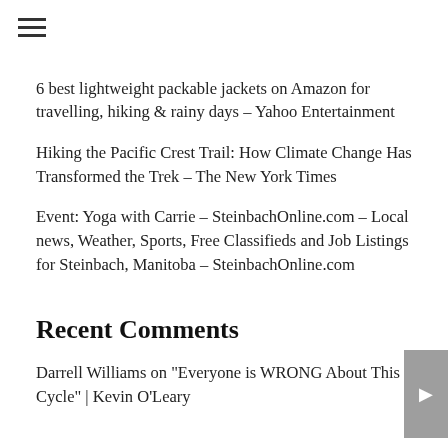6 best lightweight packable jackets on Amazon for travelling, hiking & rainy days – Yahoo Entertainment
Hiking the Pacific Crest Trail: How Climate Change Has Transformed the Trek – The New York Times
Event: Yoga with Carrie – SteinbachOnline.com – Local news, Weather, Sports, Free Classifieds and Job Listings for Steinbach, Manitoba – SteinbachOnline.com
Recent Comments
Darrell Williams on "Everyone is WRONG About This Cycle" | Kevin O'Leary